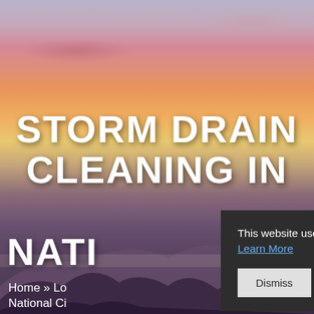[Figure (photo): Hero background image of a mountain sunset with pink and purple clouds over silhouetted mountain ridges, warm orange and yellow sky gradient]
STORM DRAIN CLEANING IN
NATI
Home » Lo National Ci
This website uses cookies to ensure you get the best experience on our website. Learn More
Dismiss  Accept All